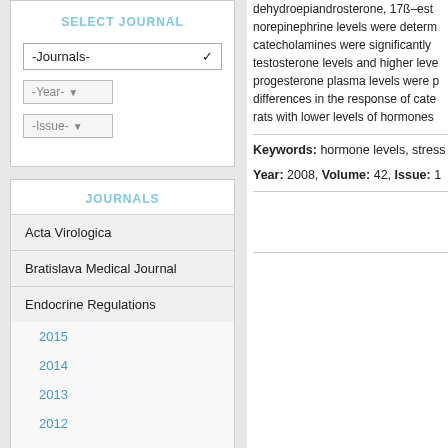SELECT JOURNAL
-Journals-
-Year-
-Issue-
JOURNALS
Acta Virologica
Bratislava Medical Journal
Endocrine Regulations
2015
2014
2013
2012
2011
2010
2009
2008
dehydroepiandrosterone, 17ß–est norepinephrine levels were determ catecholamines were significantly testosterone levels and higher leve progesterone plasma levels were p differences in the response of cate rats with lower levels of hormones
Keywords: hormone levels, stress
Year: 2008, Volume: 42, Issue: 1